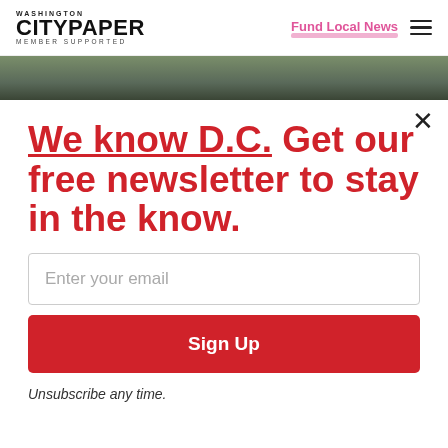Washington City Paper MEMBER SUPPORTED | Fund Local News
[Figure (photo): Blurred photo strip showing a person outdoors, partial view]
We know D.C. Get our free newsletter to stay in the know.
Enter your email
Sign Up
Unsubscribe any time.